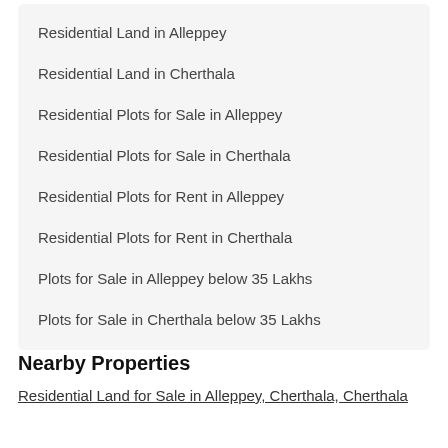Residential Land in Alleppey
Residential Land in Cherthala
Residential Plots for Sale in Alleppey
Residential Plots for Sale in Cherthala
Residential Plots for Rent in Alleppey
Residential Plots for Rent in Cherthala
Plots for Sale in Alleppey below 35 Lakhs
Plots for Sale in Cherthala below 35 Lakhs
Nearby Properties
Residential Land for Sale in Alleppey, Cherthala, Cherthala